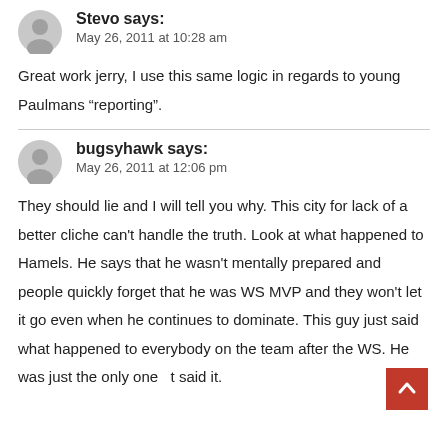Stevo says:
May 26, 2011 at 10:28 am
Great work jerry, I use this same logic in regards to young Paulmans “reporting”.
bugsyhawk says:
May 26, 2011 at 12:06 pm
They should lie and I will tell you why. This city for lack of a better cliche can't handle the truth. Look at what happened to Hamels. He says that he wasn't mentally prepared and people quickly forget that he was WS MVP and they won't let it go even when he continues to dominate. This guy just said what happened to everybody on the team after the WS. He was just the only one t said it.